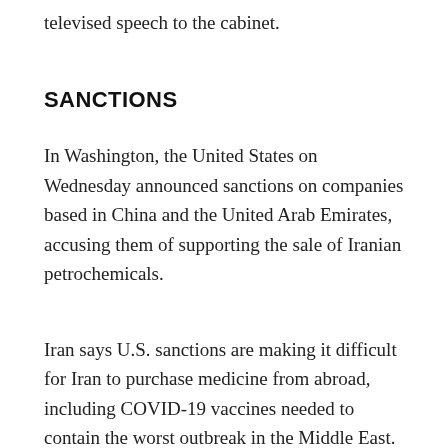televised speech to the cabinet.
SANCTIONS
In Washington, the United States on Wednesday announced sanctions on companies based in China and the United Arab Emirates, accusing them of supporting the sale of Iranian petrochemicals.
Iran says U.S. sanctions are making it difficult for Iran to purchase medicine from abroad, including COVID-19 vaccines needed to contain the worst outbreak in the Middle East.